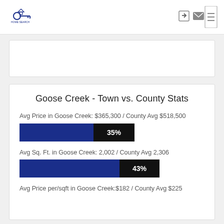[Figure (logo): Home search service logo with key icon]
[Figure (screenshot): Navigation icons: login and email, plus hamburger menu button]
Goose Creek - Town vs. County Stats
Avg Price in Goose Creek: $365,300 / County Avg $518,500
[Figure (bar-chart): Avg Price comparison]
Avg Sq. Ft. in Goose Creek: 2,002 / County Avg 2,306
[Figure (bar-chart): Avg Sq Ft comparison]
Avg Price per/sqft in Goose Creek:$182 / County Avg $225